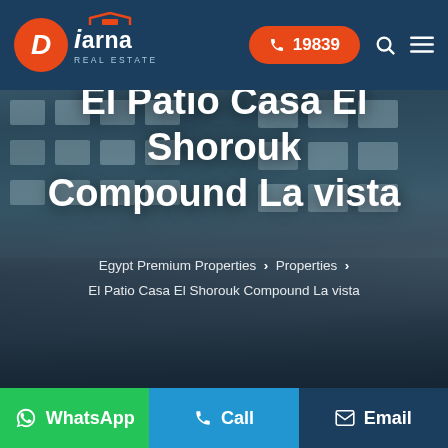Diarna Real Estate | ☎ 19839
[Figure (photo): Exterior photo of El Patio Casa El Shorouk Compound La vista residential building with pool/terrace area in foreground, multi-story modern apartment building with balconies in background]
El Patio Casa El Shorouk Compound La vista
Egypt Premium Properties > Properties > El Patio Casa El Shorouk Compound La vista
WhatsApp  Call  Email